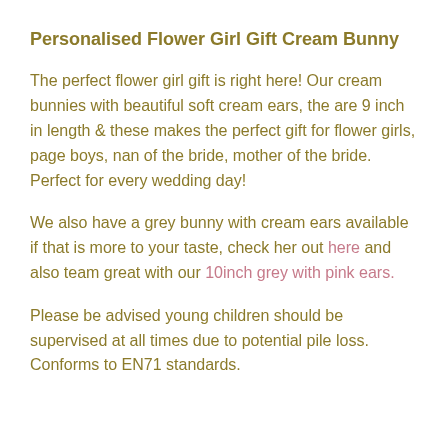Personalised Flower Girl Gift Cream Bunny
The perfect flower girl gift is right here! Our cream bunnies with beautiful soft cream ears, the are 9 inch in length & these makes the perfect gift for flower girls, page boys, nan of the bride, mother of the bride. Perfect for every wedding day!
We also have a grey bunny with cream ears available if that is more to your taste, check her out here and also team great with our 10inch grey with pink ears.
Please be advised young children should be supervised at all times due to potential pile loss. Conforms to EN71 standards.